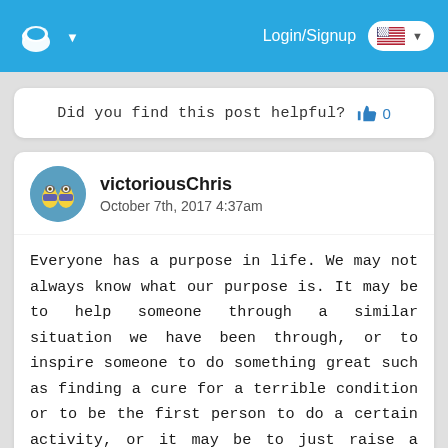Login/Signup
Did you find this post helpful? 👍 0
victoriousChris
October 7th, 2017 4:37am
Everyone has a purpose in life. We may not always know what our purpose is. It may be to help someone through a similar situation we have been through, or to inspire someone to do something great such as finding a cure for a terrible condition or to be the first person to do a certain activity, or it may be to just raise a family, or to be a friend to someone.